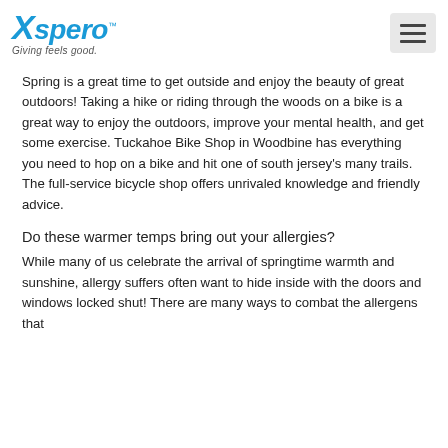Xspero™ Giving feels good.
Spring is a great time to get outside and enjoy the beauty of great outdoors! Taking a hike or riding through the woods on a bike is a great way to enjoy the outdoors, improve your mental health, and get some exercise. Tuckahoe Bike Shop in Woodbine has everything you need to hop on a bike and hit one of south jersey's many trails. The full-service bicycle shop offers unrivaled knowledge and friendly advice.
Do these warmer temps bring out your allergies?
While many of us celebrate the arrival of springtime warmth and sunshine, allergy suffers often want to hide inside with the doors and windows locked shut! There are many ways to combat the allergens that